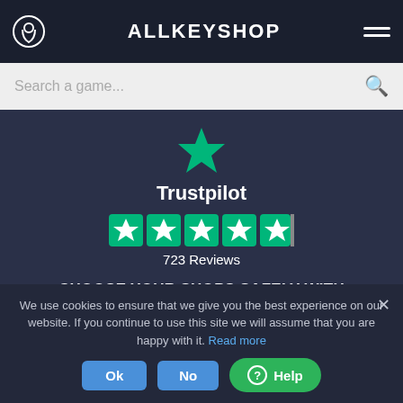ALLKEYSHOP
Search a game...
[Figure (logo): Trustpilot logo star (green star icon) above the word Trustpilot]
Trustpilot
[Figure (other): Five Trustpilot green star rating icons (4.5 out of 5 stars)]
723 Reviews
CHOOSE YOUR SHOPS SAFELY WITH ALLKEYSHOP
[Figure (illustration): White shopping cart icon]
We use cookies to ensure that we give you the best experience on our website. If you continue to use this site we will assume that you are happy with it. Read more
Ok
No
Help